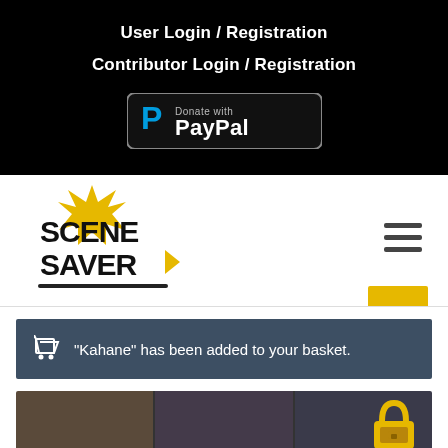User Login / Registration
Contributor Login / Registration
[Figure (logo): Donate with PayPal button]
[Figure (logo): Scene Saver logo with yellow figure and bold black text]
[Figure (other): Hamburger menu icon (three horizontal lines)]
“Kahane” has been added to your basket.
[Figure (photo): Three overlapping dark scene photos at the bottom of the page with a lock icon overlay in the bottom right]